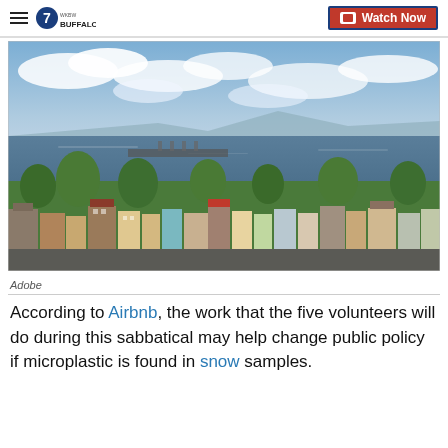7 WKBW BUFFALO — Watch Now
[Figure (photo): Aerial view of a coastal city with colorful rooftops, ships in a harbor, and distant mountains under a cloudy sky.]
Adobe
According to Airbnb, the work that the five volunteers will do during this sabbatical may help change public policy if microplastic is found in snow samples.